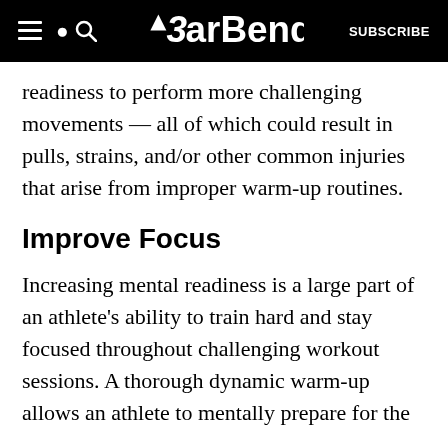BarBend | SUBSCRIBE
readiness to perform more challenging movements — all of which could result in pulls, strains, and/or other common injuries that arise from improper warm-up routines.
Improve Focus
Increasing mental readiness is a large part of an athlete's ability to train hard and stay focused throughout challenging workout sessions. A thorough dynamic warm-up allows an athlete to mentally prepare for the